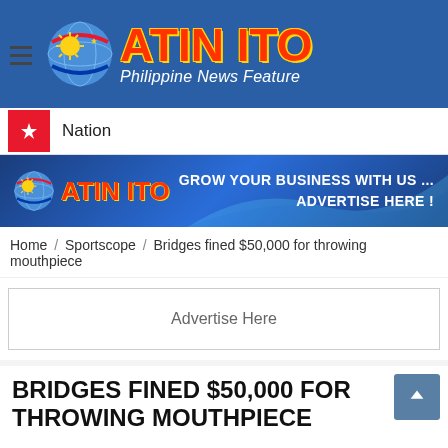ATIN ITO Philippine News Feature
Nation
[Figure (logo): Atin Ito logo with grow your business with us advertise here banner]
Home / Sportscope / Bridges fined $50,000 for throwing mouthpiece
Advertise Here
BRIDGES FINED $50,000 FOR THROWING MOUTHPIECE